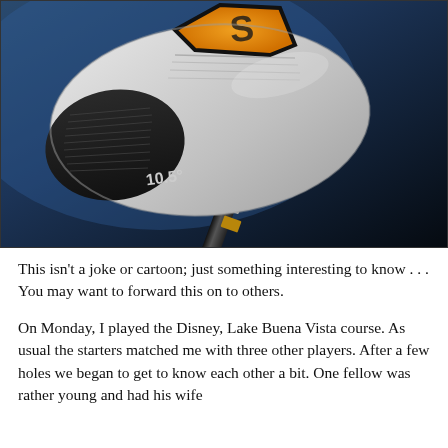[Figure (photo): Close-up photograph of a golf club driver head (10.5 degree loft) with a white/silver and black body, orange accent on top, and a black shaft with silver and gold bands. The background is a dark blue gradient.]
This isn't a joke or cartoon; just something interesting to know . . . You may want to forward this on to others.
On Monday, I played the Disney, Lake Buena Vista course. As usual the starters matched me with three other players. After a few holes we began to get to know each other a bit. One fellow was rather young and had his wife